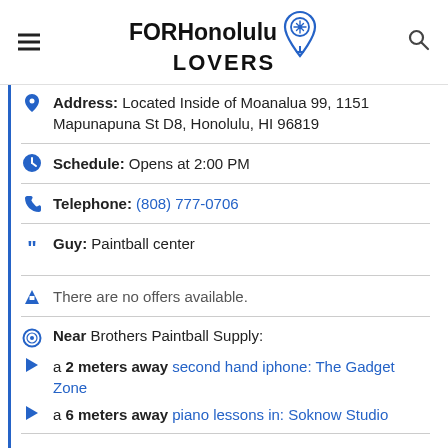FOR Honolulu LOVERS
Address: Located Inside of Moanalua 99, 1151 Mapunapuna St D8, Honolulu, HI 96819
Schedule: Opens at 2:00 PM
Telephone: (808) 777-0706
Guy: Paintball center
There are no offers available.
Near Brothers Paintball Supply:
a 2 meters away second hand iphone: The Gadget Zone
a 6 meters away piano lessons in: Soknow Studio
Are you the owner of the business? PROMOTE IT!